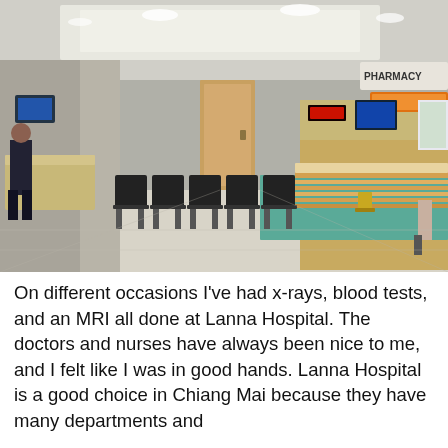[Figure (photo): Interior of Lanna Hospital showing a waiting area with rows of black chairs, a pharmacy counter with warm wood paneling and teal accents, recessed ceiling lighting, and a few people in the background.]
On different occasions I've had x-rays, blood tests, and an MRI all done at Lanna Hospital. The doctors and nurses have always been nice to me, and I felt like I was in good hands. Lanna Hospital is a good choice in Chiang Mai because they have many departments and